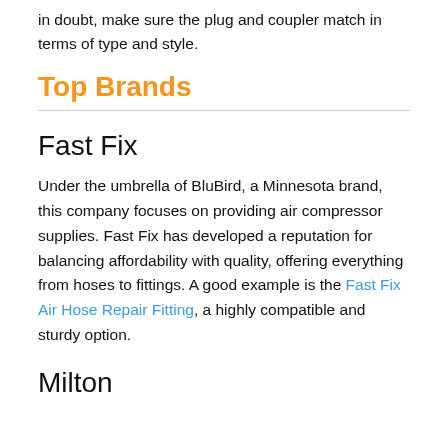in doubt, make sure the plug and coupler match in terms of type and style.
Top Brands
Fast Fix
Under the umbrella of BluBird, a Minnesota brand, this company focuses on providing air compressor supplies. Fast Fix has developed a reputation for balancing affordability with quality, offering everything from hoses to fittings. A good example is the Fast Fix Air Hose Repair Fitting, a highly compatible and sturdy option.
Milton